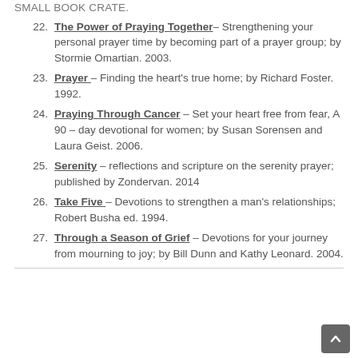SMALL BOOK CRATE.
The Power of Praying Together – Strengthening your personal prayer time by becoming part of a prayer group; by Stormie Omartian. 2003.
Prayer – Finding the heart's true home; by Richard Foster. 1992.
Praying Through Cancer – Set your heart free from fear, A 90 – day devotional for women; by Susan Sorensen and Laura Geist. 2006.
Serenity – reflections and scripture on the serenity prayer; published by Zondervan. 2014
Take Five – Devotions to strengthen a man's relationships; Robert Busha ed. 1994.
Through a Season of Grief – Devotions for your journey from mourning to joy; by Bill Dunn and Kathy Leonard. 2004.